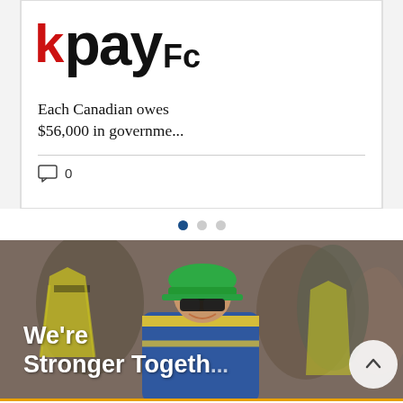[Figure (screenshot): Partial view of a 'kpay' logo with red K and black letters on white background, partially cropped]
Each Canadian owes $56,000 in governme...
0 comments
[Figure (photo): Pagination dots: first dot active (dark blue), second and third dots grey]
[Figure (photo): Construction worker woman wearing green hard hat, safety glasses, high-visibility vest, smiling. Banner text: We're Stronger Together with scroll-up button]
We're Stronger Togeth...